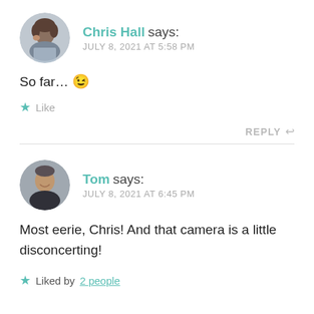Chris Hall says: JULY 8, 2021 AT 5:58 PM
So far… 😉
★ Like
REPLY ↩
Tom says: JULY 8, 2021 AT 6:45 PM
Most eerie, Chris! And that camera is a little disconcerting!
★ Liked by 2 people